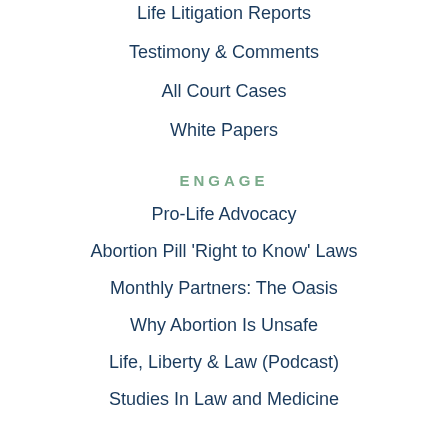Life Litigation Reports
Testimony & Comments
All Court Cases
White Papers
ENGAGE
Pro-Life Advocacy
Abortion Pill 'Right to Know' Laws
Monthly Partners: The Oasis
Why Abortion Is Unsafe
Life, Liberty & Law (Podcast)
Studies In Law and Medicine